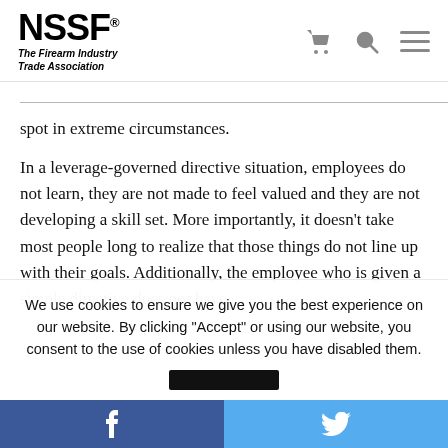NSSF® The Firearm Industry Trade Association
spot in extreme circumstances.
In a leverage-governed directive situation, employees do not learn, they are not made to feel valued and they are not developing a skill set. More importantly, it doesn't take most people long to realize that those things do not line up with their goals. Additionally, the employee who is given a simple directive does not have
We use cookies to ensure we give you the best experience on our website. By clicking "Accept" or using our website, you consent to the use of cookies unless you have disabled them.
f   [Twitter bird icon]